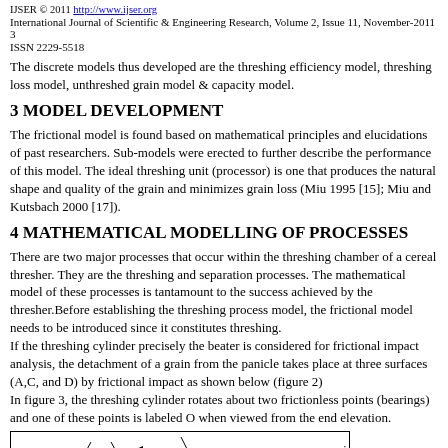IJSER © 2011 http://www.ijser.org
International Journal of Scientific & Engineering Research, Volume 2, Issue 11, November-2011 3
ISSN 2229-5518
The discrete models thus developed are the threshing efficiency model, threshing loss model, unthreshed grain model & capacity model.
3 MODEL DEVELOPMENT
The frictional model is found based on mathematical principles and elucidations of past researchers. Sub-models were erected to further describe the performance of this model. The ideal threshing unit (processor) is one that produces the natural shape and quality of the grain and minimizes grain loss (Miu 1995 [15]; Miu and Kutsbach 2000 [17]).
4 MATHEMATICAL MODELLING OF PROCESSES
There are two major processes that occur within the threshing chamber of a cereal thresher. They are the threshing and separation processes. The mathematical model of these processes is tantamount to the success achieved by the thresher.Before establishing the threshing process model, the frictional model needs to be introduced since it constitutes threshing.
If the threshing cylinder precisely the beater is considered for frictional impact analysis, the detachment of a grain from the panicle takes place at three surfaces (A,C, and D) by frictional impact as shown below (figure 2)
In figure 3, the threshing cylinder rotates about two frictionless points (bearings) and one of these points is labeled O when viewed from the end elevation.
[Figure (illustration): Diagram showing panicle and hopper labels with lines indicating parts of a threshing mechanism, partially visible at bottom of page.]